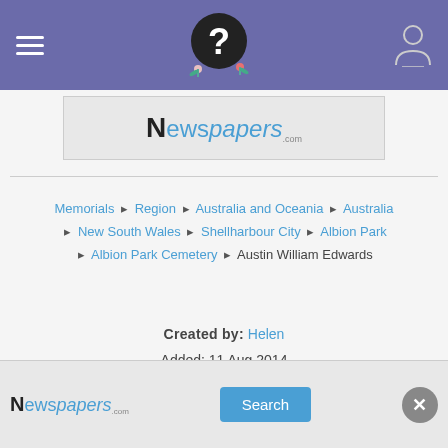Find a Grave mobile app navigation header with hamburger menu, logo, and user icon
[Figure (logo): Newspapers.com advertisement banner at top]
Memorials ❯ Region ❯ Australia and Oceania ❯ Australia ❯ New South Wales ❯ Shellharbour City ❯ Albion Park ❯ Albion Park Cemetery ❯ Austin William Edwards
Created by: Helen
Added: 11 Aug 2014
Find a Grave Memorial ID: 134213243
Source citation
[Figure (logo): Newspapers.com advertisement banner at bottom with Search button]